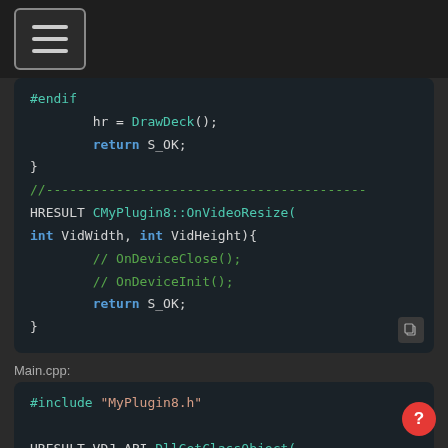[Figure (screenshot): Dark-themed navigation bar with hamburger menu icon]
#endif
        hr = DrawDeck();
        return S_OK;
}
//------------------------------------------
HRESULT CMyPlugin8::OnVideoResize(
int VidWidth, int VidHeight){
        // OnDeviceClose();
        // OnDeviceInit();
        return S_OK;
}
Main.cpp:
#include "MyPlugin8.h"

HRESULT VDJ_API DllGetClassObject(
const GUID &rclsid,const GUID &
riid,void** ppObject){    if (